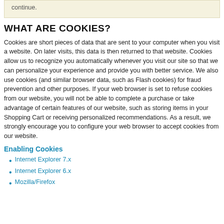continue.
WHAT ARE COOKIES?
Cookies are short pieces of data that are sent to your computer when you visit a website. On later visits, this data is then returned to that website. Cookies allow us to recognize you automatically whenever you visit our site so that we can personalize your experience and provide you with better service. We also use cookies (and similar browser data, such as Flash cookies) for fraud prevention and other purposes. If your web browser is set to refuse cookies from our website, you will not be able to complete a purchase or take advantage of certain features of our website, such as storing items in your Shopping Cart or receiving personalized recommendations. As a result, we strongly encourage you to configure your web browser to accept cookies from our website.
Enabling Cookies
Internet Explorer 7.x
Internet Explorer 6.x
Mozilla/Firefox